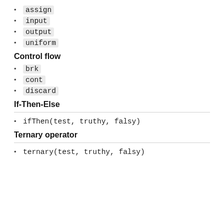assign
input
output
uniform
Control flow
brk
cont
discard
If-Then-Else
ifThen(test, truthy, falsy)
Ternary operator
ternary(test, truthy, falsy)